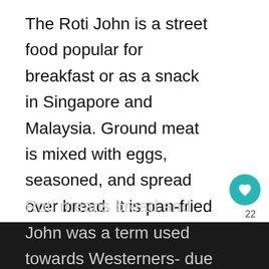The Roti John is a street food popular for breakfast or as a snack in Singapore and Malaysia. Ground meat is mixed with eggs, seasoned, and spread over bread. It is pan-fried until browned and served with sweet chili sauce or Sambal. It was first created in Singapore by a man named Shukor in the 1970s. Literally meaning “John Bread”, this sandwich doesn’t seem to be named after anyone in particular. Roti means bread and John was a term used towards Westerners- due to the